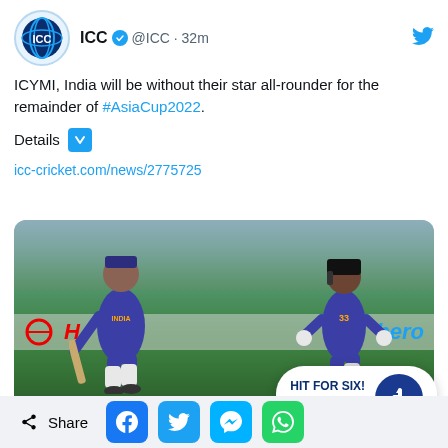[Figure (screenshot): ICC Twitter/social media post showing two Indian cricket players in blue jerseys running on a cricket pitch, with 'Hero' sponsor banner visible. Post includes ICC logo, verified badge, and engagement overlay showing 'HIT FOR SIX! 993' with thumbs up icon. Bottom shows share buttons for Facebook, Twitter, Messenger, and WhatsApp.]
ICC @ICC · 32m
ICYMI, India will be without their star all-rounder for the remainder of #AsiaCup2022.
Details ⬇
icc-cricket.com/news/2775725
icc-cricket.com
Replacement named for inju... India squad for Asia Cup
HIT FOR SIX! 993
Share